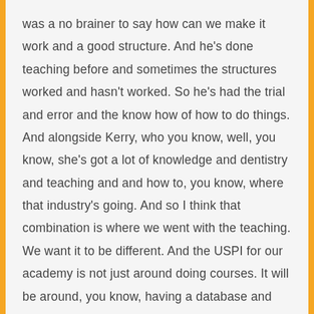was a no brainer to say how can we make it work and a good structure. And he's done teaching before and sometimes the structures worked and hasn't worked. So he's had the trial and error and the know how of how to do things. And alongside Kerry, who you know, well, you know, she's got a lot of knowledge and dentistry and teaching and and how to, you know, where that industry's going. And so I think that combination is where we went with the teaching. We want it to be different. And the USPI for our academy is not just around doing courses. It will be around, you know, having a database and creating a platform, especially now with covered everything, being more online. We want to have a strong kind of digital aspect that will be part of the